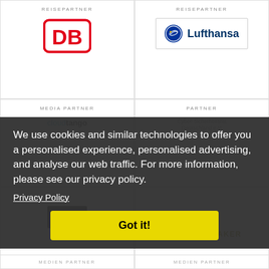REISEPARTNER
[Figure (logo): Deutsche Bahn DB logo — red rounded rectangle with white DB letters]
REISEPARTNER
[Figure (logo): Lufthansa logo — circular crane icon and bold Lufthansa wordmark in dark blue]
MEDIA PARTNER
[Figure (logo): cloudtango logo in teal and dark text]
PARTNER
[Figure (logo): Cyber-Sicherheitsrat Deutschland e.V. logo]
[Figure (logo): etno logo — white text on dark background]
[Figure (logo): GROUNDBREAKER logo in olive/gold text]
We use cookies and similar technologies to offer you a personalised experience, personalised advertising, and analyse our web traffic. For more information, please see our privacy policy.
Privacy Policy
Got it!
MEDIEN PARTNER
MEDIEN PARTNER